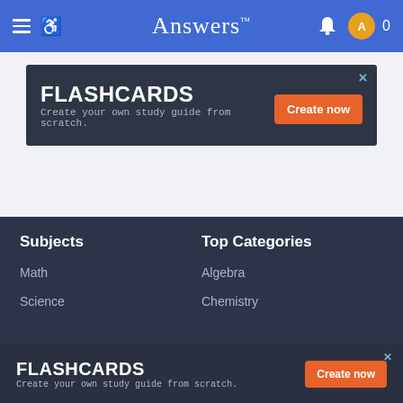Answers
[Figure (screenshot): Flashcards advertisement banner: dark background with FLASHCARDS title, subtitle 'Create your own study guide from scratch.' and an orange 'Create now' button]
Subjects
Top Categories
Math
Algebra
Science
Chemistry
[Figure (screenshot): Bottom Flashcards advertisement banner: dark background with FLASHCARDS title, subtitle 'Create your own study guide from scratch.' and an orange 'Create now' button]